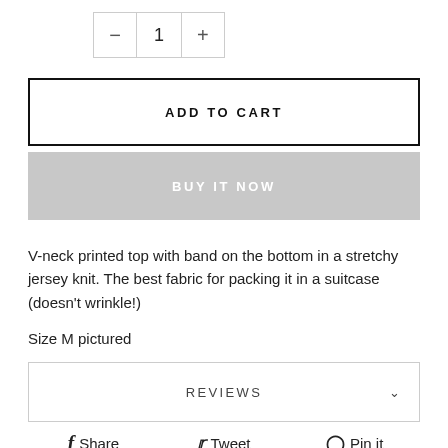[Figure (screenshot): Quantity selector with minus button, number 1, and plus button inside a bordered box]
[Figure (screenshot): ADD TO CART button with black border and white background]
[Figure (screenshot): BUY IT NOW button with gray background and white text]
V-neck printed top with band on the bottom in a stretchy jersey knit. The best fabric for packing it in a suitcase (doesn't wrinkle!)
Size M pictured
[Figure (screenshot): REVIEWS collapsible section with chevron icon]
Share  Tweet  Pin it